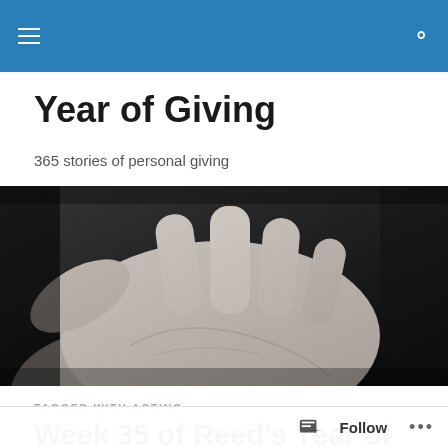Year of Giving — site navigation bar
Year of Giving
365 stories of personal giving
[Figure (photo): Black and white close-up photograph of an open human hand/palm extended outward against a dark background, viewed from below.]
TAGGED WITH ACTING
Week 35 of Reed's Year of Volunteering: Porvi...
Follow   ...